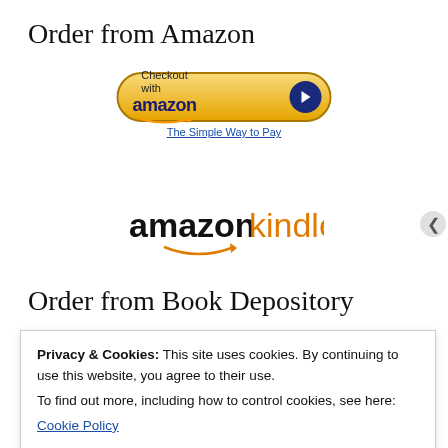Order from Amazon
[Figure (logo): Amazon Checkout button with golden pill shape, 'Checkout with amazon' text, blue arrow circle, and 'The Simple Way to Pay' subtitle]
[Figure (logo): Amazon Kindle logo with black 'amazon' text, orange 'kindle' text, and orange smile arrow underneath]
Order from Book Depository
[Figure (other): Dark horizontal bar/border element]
Privacy & Cookies: This site uses cookies. By continuing to use this website, you agree to their use.
To find out more, including how to control cookies, see here:
Cookie Policy
Close and accept